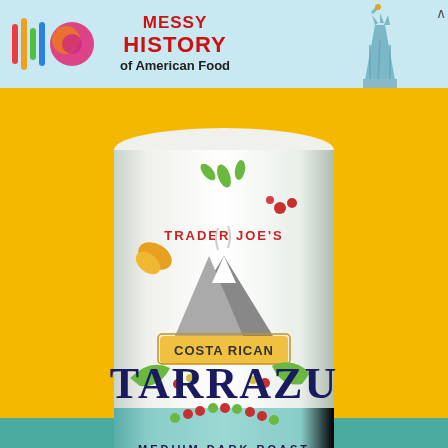[Figure (photo): Top advertisement banner for 'Messy History of American Food' with colorful logo bars, a gradient circle logo, red bold text, and Statue of Liberty image on teal/light blue background]
[Figure (photo): Trader Joe's Costa Rican Tarrazu coffee can, Medium Dark Roast, Well Balanced and Silky Smooth Finish, Net Wt. 13 oz (369g), displayed against yellow/orange and teal background]
Photo by Cole Saladino for Thrillist
ADVERTISEMENT
[Figure (photo): Bottom advertisement banner for Thrillist YouTube channel with 'Follow us on YouTube' text, blue background, play button icon, and photo of person eating food]